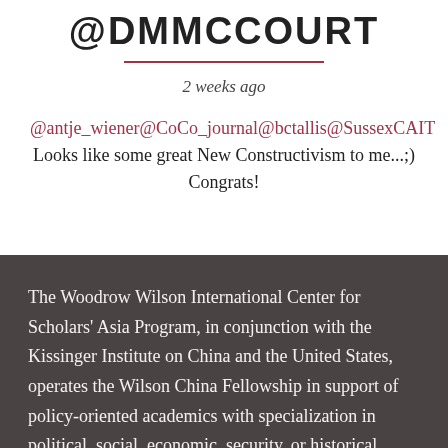@DMMCCOURT
2 weeks ago
@antje_wiener@CoCo_journal@bctallis@SussexCAIT Looks like some great New Constructivism to me...;) Congrats!
The Woodrow Wilson International Center for Scholars' Asia Program, in conjunction with the Kissinger Institute on China and the United States, operates the Wilson China Fellowship in support of policy-oriented academics with specialization in political, social, economic, security, or historical issues related to China. This fellowship is made possible with the generous support of Carnegie